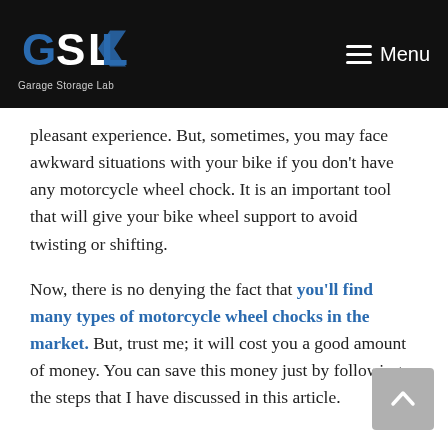Garage Storage Lab — Menu
pleasant experience. But, sometimes, you may face awkward situations with your bike if you don't have any motorcycle wheel chock. It is an important tool that will give your bike wheel support to avoid twisting or shifting.
Now, there is no denying the fact that you'll find many types of motorcycle wheel chocks in the market. But, trust me; it will cost you a good amount of money. You can save this money just by following the steps that I have discussed in this article.